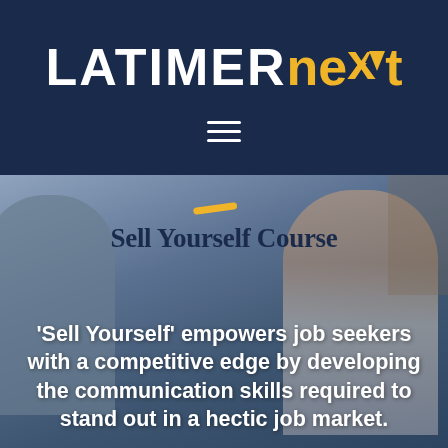LATIMERnext
[Figure (photo): Navigation hamburger menu icon (three horizontal lines) on dark navy background]
[Figure (photo): Background photo of a smiling woman with glasses in a striped shirt, overlaid with a dark blue tint, suggesting a professional interview or meeting setting. Contains an orange dash accent above the course title 'Sell Yourself Course'.]
Sell Yourself Course
'Sell Yourself' empowers job seekers with a competitive edge by developing the communication skills required to stand out in a hectic job market.